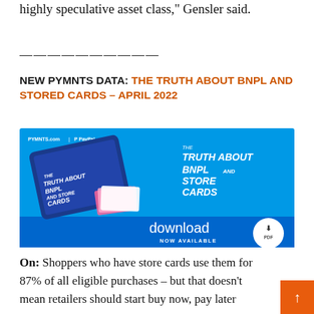highly speculative asset class,” Gensler said.
——————————
NEW PYMNTS DATA: THE TRUTH ABOUT BNPL AND STORED CARDS – APRIL 2022
[Figure (illustration): Promotional banner for PYMNTS and PayPal report: The Truth About BNPL and Store Cards. Shows a tablet device with the report cover and text 'download NOW AVAILABLE' with a PDF download button on a blue background.]
On: Shoppers who have store cards use them for 87% of all eligible purchases – but that doesn’t mean retailers should start buy now, pay later (BNPL) to attract shoppers. The Truth About...